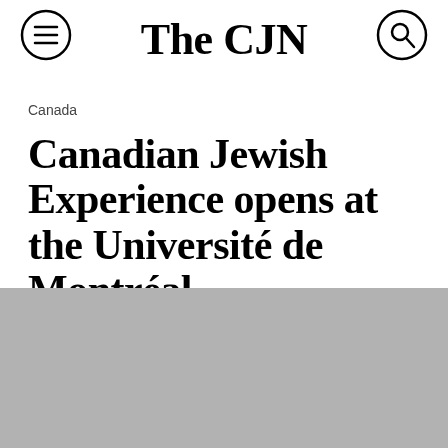The CJN
Canada
Canadian Jewish Experience opens at the Université de Montréal
November 28, 2017   By Janice Arnold
[Figure (photo): Gray placeholder image block at bottom of page]